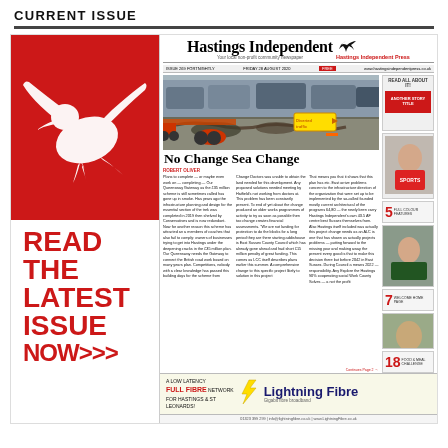CURRENT ISSUE
[Figure (screenshot): Current issue page featuring Hastings Independent newspaper. Left panel shows red background with white bird silhouette and text 'READ THE LATEST ISSUE NOW>>>'. Right panel shows thumbnail of Hastings Independent newspaper front page with headline 'No Change Sea Change' and photo of traffic diversion, plus Lightning Fibre advertisement at bottom.]